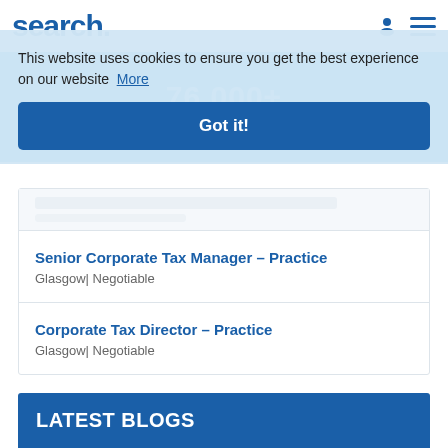search.
This website uses cookies to ensure you get the best experience on our website  More
Got it!
76,000+
Candidates placed last year
Senior Corporate Tax Manager – Practice
Glasgow| Negotiable
Corporate Tax Director – Practice
Glasgow| Negotiable
LATEST BLOGS